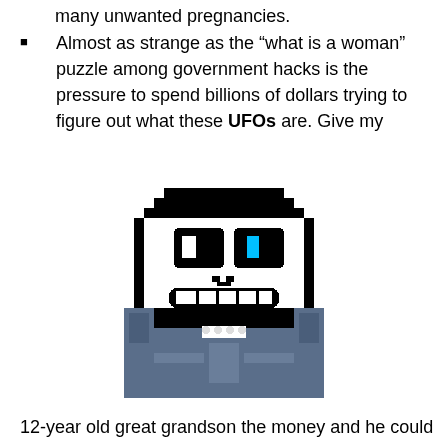many unwanted pregnancies.
Almost as strange as the “what is a woman” puzzle among government hacks is the pressure to spend billions of dollars trying to figure out what these UFOs are. Give my
[Figure (illustration): Pixel art of Sans from Undertale, a skeleton character with a wide grin, black eye sockets with white pupils (one has a cyan/blue light), wearing a blue hoodie.]
12-year old great grandson the money and he could